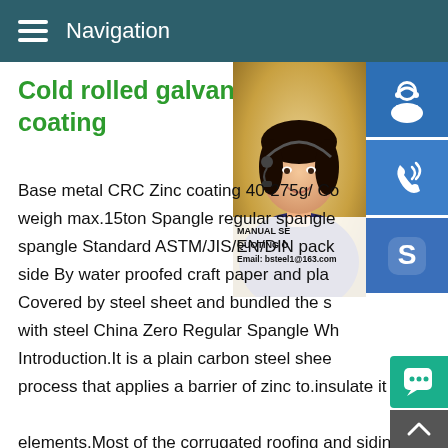Navigation
Cold rolled galvanized steel c coating
[Figure (photo): Woman with headset smiling, customer service representative photo with blue icon buttons (support, phone, skype) overlaid on right side]
Base metal CRC Zinc coating 40-275g/ Co weigh max.15ton Spangle regular spangle spangle Standard ASTM/JIS/EN/DIN pack side By water proofed craft paper and pla Covered by steel sheet and bundled the s with steel China Zero Regular Spangle Wh Introduction.It is a plain carbon carbon steel shee process that applies a barrier of zinc to.insulate it from the elements.Most of the corrugated roofing and siding products seen today.China Prepainted Steel Coil manufacturer,Zero Spangle Mas Zero Spangle Galvanized Steel Coil Zinc Coated Steel Coils Contact now Roofing Sheet SGCC Dx51d Zinc Coated Z40-Za Cold Rolled Hot DIP Galvanized Steel Coil for Roofing Materia